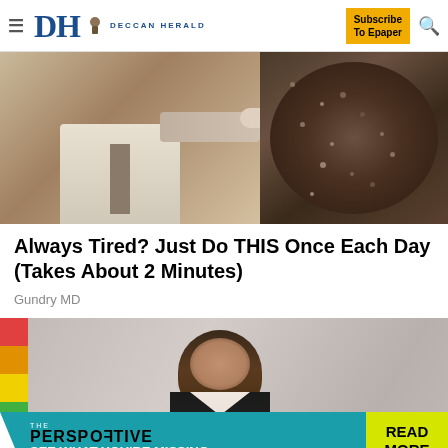DH DECCAN HERALD — Subscribe To Epaper
[Figure (photo): Advertisement image showing a man in a suit pointing and a bowl of dark food, promoting a health product]
Always Tired? Just Do THIS Once Each Day (Takes About 2 Minutes)
Gundry MD
[Figure (photo): Advertisement image showing a smiling woman in business attire standing in front of a blurred background]
[Figure (infographic): Bottom banner advertisement: THE PERSPECTIVE — SEE WHAT YOU'RE MISSING | READ MORE]